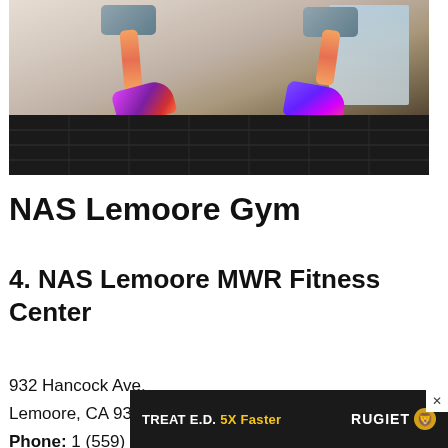[Figure (photo): Photo of a person running on a treadmill, showing legs and colorful sneakers (pink/purple), treadmill belt visible, gym background with window]
NAS Lemoore Gym
4. NAS Lemoore MWR Fitness Center
932 Hancock Ave.
Lemoore, CA 93246
Phone: 1 (559) 998-4883
[Figure (photo): Advertisement banner: TREAT E.D. 5X Faster — RUGIET with lion logo, dark background]